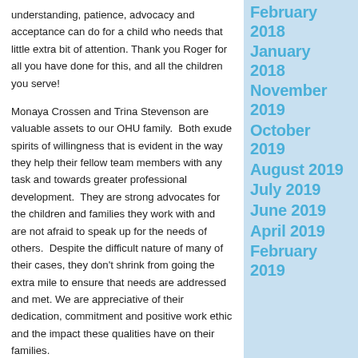understanding, patience, advocacy and acceptance can do for a child who needs that little extra bit of attention. Thank you Roger for all you have done for this, and all the children you serve!
Monaya Crossen and Trina Stevenson are valuable assets to our OHU family.  Both exude spirits of willingness that is evident in the way they help their fellow team members with any task and towards greater professional development.  They are strong advocates for the children and families they work with and are not afraid to speak up for the needs of others.  Despite the difficult nature of many of their cases, they don't shrink from going the extra mile to ensure that needs are addressed and met. We are appreciative of their dedication, commitment and positive work ethic and the impact these qualities have on their families.
February 2018
January 2018
November 2019
October 2019
August 2019
July 2019
June 2019
April 2019
February 2019